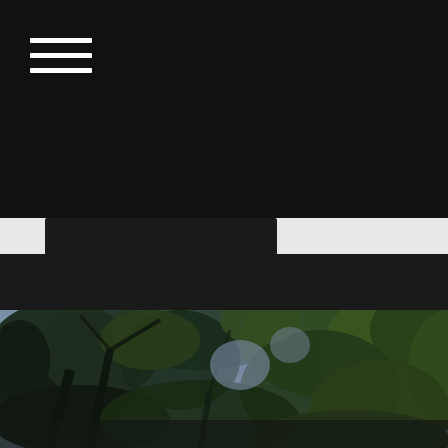[Figure (screenshot): Mobile website screenshot showing a dark navigation header with a hamburger menu icon (three white horizontal lines), a tab bar with a dark active tab, a dark band below, and a large photo of tree canopy and sky viewed from below]
[Figure (photo): Upward view through dense tree canopy with dark green leaves against a blue-grey sky]